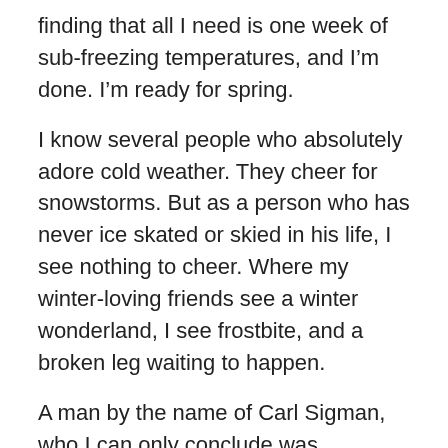finding that all I need is one week of sub-freezing temperatures, and I'm done. I'm ready for spring.
I know several people who absolutely adore cold weather. They cheer for snowstorms. But as a person who has never ice skated or skied in his life, I see nothing to cheer. Where my winter-loving friends see a winter wonderland, I see frostbite, and a broken leg waiting to happen.
A man by the name of Carl Sigman, who I can only conclude was deranged, wrote a popular song in 1949 called “It’s a Marshmallow World.” You probably have heard it, particularly at this time of year. It begins:
“It’s a marshmallow world in the winter,
When the snow comes to cover the ground,
It’s the time for play, it’s a whipped cream day,